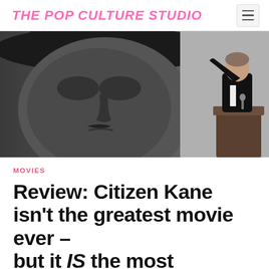THE POP CULTURE STUDIO
[Figure (photo): Black and white photo of a man in a suit standing at a podium with his arm raised, with a large backdrop showing a close-up face of a man wearing a wide-brimmed hat (Citizen Kane promotional image).]
MOVIES
Review: Citizen Kane isn't the greatest movie ever – but it IS the most influential